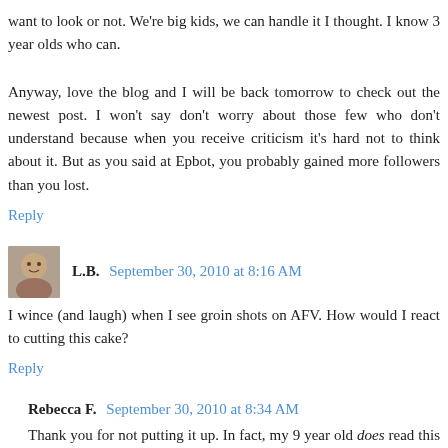want to look or not. We're big kids, we can handle it I thought. I know 3 year olds who can.
Anyway, love the blog and I will be back tomorrow to check out the newest post. I won't say don't worry about those few who don't understand because when you receive criticism it's hard not to think about it. But as you said at Epbot, you probably gained more followers than you lost.
Reply
L.B.  September 30, 2010 at 8:16 AM
I wince (and laugh) when I see groin shots on AFV. How would I react to cutting this cake?
Reply
Rebecca F.  September 30, 2010 at 8:34 AM
Thank you for not putting it up. In fact, my 9 year old does read this blog. She usually misses the more adult-type humour and loves the site. I never, ever mind the jokes (I'm